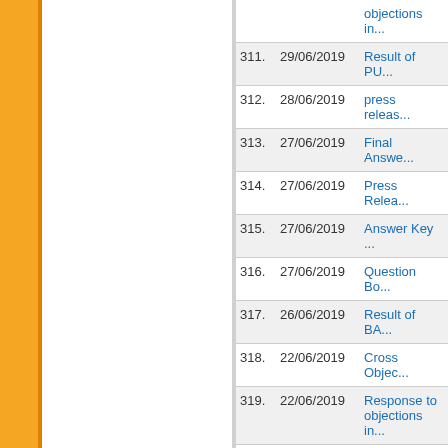| No. | Date | Title |
| --- | --- | --- |
|  |  | objections in... |
| 311. | 29/06/2019 | Result of PU... |
| 312. | 28/06/2019 | press releas... |
| 313. | 27/06/2019 | Final Answe... |
| 314. | 27/06/2019 | Press Relea... |
| 315. | 27/06/2019 | Answer Key ... |
| 316. | 27/06/2019 | Question Bo... |
| 317. | 26/06/2019 | Result of BA... |
| 318. | 22/06/2019 | Cross Objec... |
| 319. | 22/06/2019 | Response to objections in... |
| 320. | 21/06/2019 | Press releas... BA/BCom LL... |
| 321. | 21/06/2019 | Response to objections in... |
| 322. | 18/06/2019 | Answer Key ... |
| 323. | 18/06/2019 | Answer Key ... Course-2019... |
| 324. | 18/06/2019 | Answer Key ... |